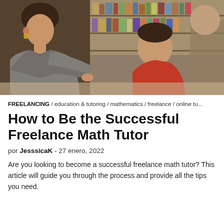[Figure (photo): A woman (tutor) with short dark hair wearing a grey shirt leans over a table helping a young boy in a red shirt. A library with bookshelves is visible in the background. Another person is partially visible on the right.]
FREELANCING / education & tutoring / mathematics / freelance / online tu...
How to Be the Successful Freelance Math Tutor
por JesssicaK - 27 enero, 2022
Are you looking to become a successful freelance math tutor? This article will guide you through the process and provide all the tips you need.